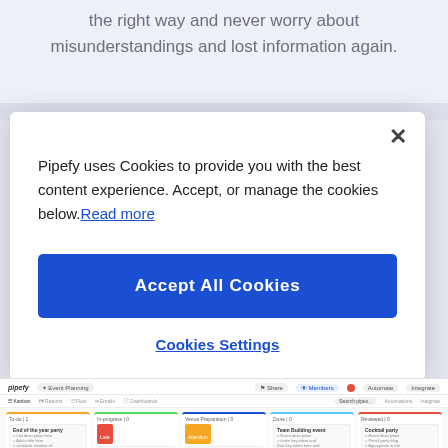the right way and never worry about misunderstandings and lost information again.
Pipefy uses Cookies to provide you with the best content experience. Accept, or manage the cookies below. Read more
Accept All Cookies
Cookies Settings
[Figure (screenshot): Screenshot of Pipefy Event Planning kanban board interface showing multiple columns with cards]